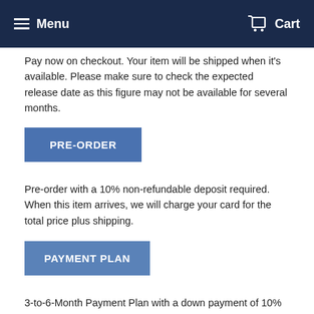Menu  Cart
Pay now on checkout. Your item will be shipped when it's available. Please make sure to check the expected release date as this figure may not be available for several months.
PRE-ORDER
Pre-order with a 10% non-refundable deposit required. When this item arrives, we will charge your card for the total price plus shipping.
PAYMENT PLAN
3-to-6-Month Payment Plan with a down payment of 10% to 100% of total price. A 10% non-refundable deposit required. Schedule payments every month up to every two months.
PRE-ORDER. RELEASE DATE: SEPTEMBER 2022 LIMITED PRE-ORDERS LEFT
SHIPPING